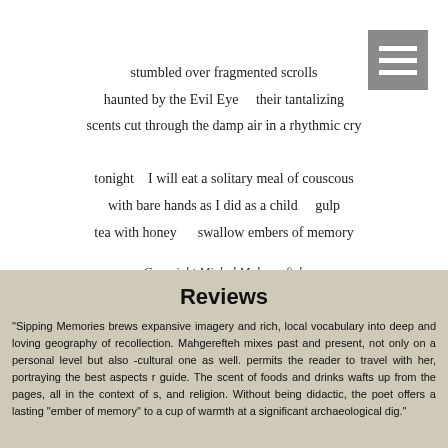[Figure (other): Gray menu icon with three white horizontal lines in top right corner]
stumbled over fragmented scrolls
haunted by the Evil Eye    their tantalizing
scents cut through the damp air in a rhythmic cry

tonight   I will eat a solitary meal of couscous
with bare hands as I did as a child    gulp
tea with honey    swallow embers of memory
Copyright Michal Mahgerefteh
Reviews
"Sipping Memories brews expansive imagery and rich, local vocabulary into deep and loving geography of recollection. Mahgerefteh mixes past and present, not only on a personal level but also -cultural one as well. permits the reader to travel with her, portraying the best aspects r guide. The scent of foods and drinks wafts up from the pages, all in the context of s, and religion. Without being didactic, the poet offers a lasting "ember of memory" to a cup of warmth at a significant archaeological dig."